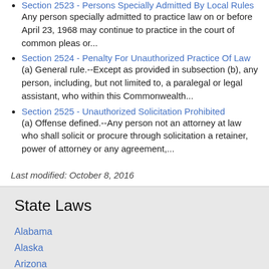Section 2523 - Persons Specially Admitted By Local Rules
Any person specially admitted to practice law on or before April 23, 1968 may continue to practice in the court of common pleas or...
Section 2524 - Penalty For Unauthorized Practice Of Law
(a) General rule.--Except as provided in subsection (b), any person, including, but not limited to, a paralegal or legal assistant, who within this Commonwealth...
Section 2525 - Unauthorized Solicitation Prohibited
(a) Offense defined.--Any person not an attorney at law who shall solicit or procure through solicitation a retainer, power of attorney or any agreement,...
Last modified: October 8, 2016
State Laws
Alabama
Alaska
Arizona
California